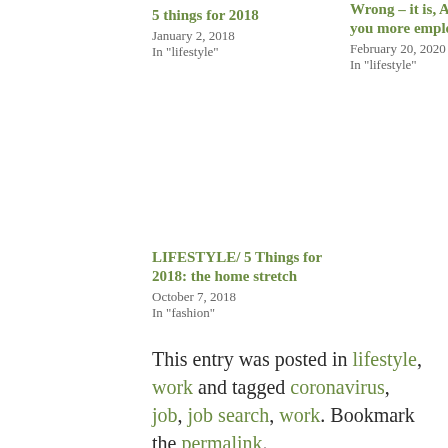5 things for 2018
January 2, 2018
In "lifestyle"
Wrong – it is, AND it makes you more employable
February 20, 2020
In "lifestyle"
LIFESTYLE/ 5 Things for 2018: the home stretch
October 7, 2018
In "fashion"
This entry was posted in lifestyle, work and tagged coronavirus, job, job search, work. Bookmark the permalink.